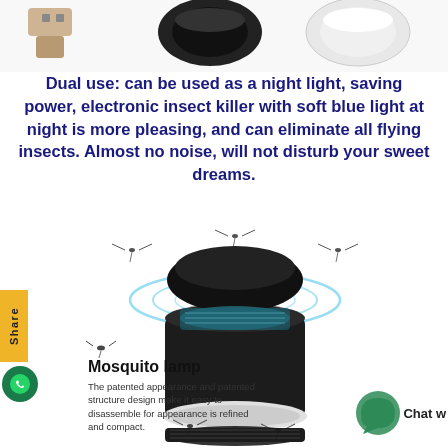[Figure (photo): Strip of product photos at top: USB connector, black mosquito lamp (top view), white mosquito lamp variant]
Dual use: can be used as a night light, saving power, electronic insect killer with soft blue light at night is more pleasing, and can eliminate all flying insects. Almost no noise, will not disturb your sweet dreams.
[Figure (photo): Black cylindrical mosquito killer lamp with blue light wave rings emanating from top, mosquito silhouettes around it, and a black tray base shown below]
Share
Mosquito lamp
The patented appearance and patented structure design make it easy to disassemble for appearance is refined and compact.
Chat w